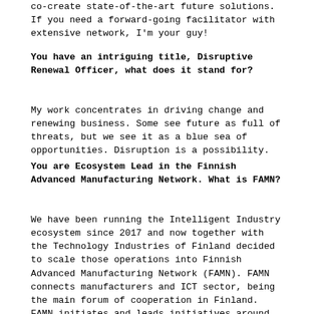co-create state-of-the-art future solutions. If you need a forward-going facilitator with extensive network, I'm your guy!
You have an intriguing title, Disruptive Renewal Officer, what does it stand for?
My work concentrates in driving change and renewing business. Some see future as full of threats, but we see it as a blue sea of opportunities. Disruption is a possibility.
You are Ecosystem Lead in the Finnish Advanced Manufacturing Network. What is FAMN?
We have been running the Intelligent Industry ecosystem since 2017 and now together with the Technology Industries of Finland decided to scale those operations into Finnish Advanced Manufacturing Network (FAMN). FAMN connects manufacturers and ICT sector, being the main forum of cooperation in Finland. FAMN initiates and leads initiatives around areas such as automation, robotics, data, artificial intelligence and machine learning. The network also plans and implements joint RDI projects, provide innovation coaching and accelerator services, arrange training academies, share information on regulation and industry standards, and jointly strengthen the attractiveness, diversity and brand of the